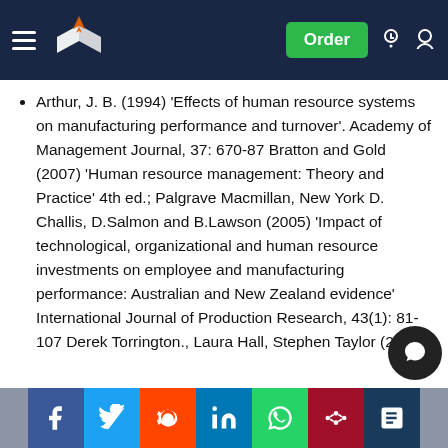Navigation bar with logo and Order button
Arthur, J. B. (1994) 'Effects of human resource systems on manufacturing performance and turnover'. Academy of Management Journal, 37: 670-87 Bratton and Gold (2007) 'Human resource management: Theory and Practice' 4th ed.; Palgrave Macmillan, New York D. Challis, D.Salmon and B.Lawson (2005) 'Impact of technological, organizational and human resource investments on employee and manufacturing performance: Australian and New Zealand evidence' International Journal of Production Research, 43(1): 81-107 Derek Torrington., Laura Hall, Stephen Taylor (2008) 'Human Resource Management'; 7th ed. London Pearson education, p.256 Godard, J., (2001) "H Performance and the Transformation of Work: The Implications for the Experience and Outcomes of Work" Industrial and
Social share bar: Facebook, Twitter, Reddit, LinkedIn, WhatsApp, Mix, ResearchGate